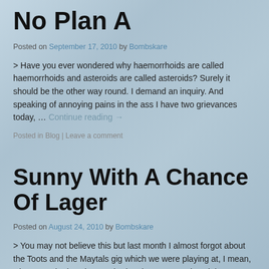No Plan A
Posted on September 17, 2010 by Bombskare
> Have you ever wondered why haemorrhoids are called haemorrhoids and asteroids are called asteroids? Surely it should be the other way round. I demand an inquiry. And speaking of annoying pains in the ass I have two grievances today, … Continue reading →
Posted in Blog | Leave a comment
Sunny With A Chance Of Lager
Posted on August 24, 2010 by Bombskare
> You may not believe this but last month I almost forgot about the Toots and the Maytals gig which we were playing at, I mean, when was the last time we had a gig on a Tuesday night? Fortunately …